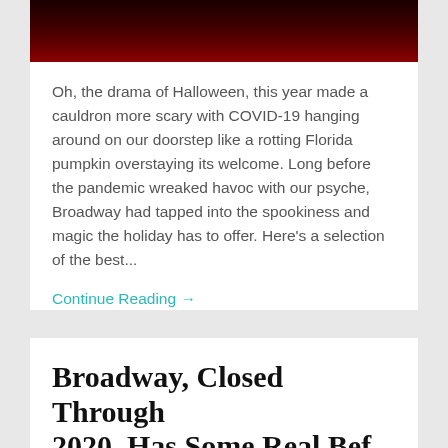[Figure (photo): Dark theatrical stage photo with red lighting, partial view at top of card]
Oh, the drama of Halloween, this year made a cauldron more scary with COVID-19 hanging around on our doorstep like a rotting Florida pumpkin overstaying its welcome. Long before the pandemic wreaked havoc with our psyche, Broadway had tapped into the spookiness and magic the holiday has to offer. Here's a selection of the best...
Continue Reading →
October 27, 2020
Broadway, Closed Through 2020, Has Some Real Bef...